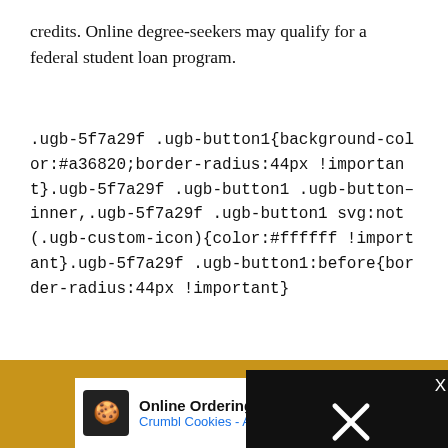credits. Online degree-seekers may qualify for a federal student loan program.
.ugb-5f7a29f .ugb-button1{background-color:#a36820;border-radius:44px !important}.ugb-5f7a29f .ugb-button1 .ugb-button–inner,.ugb-5f7a29f .ugb-button1 svg:not(.ugb-custom-icon){color:#ffffff !important}.ugb-5f7a29f .ugb-button1:before{border-radius:44px !important}
Visit School
5. Pennsylvania – World Cam...
[Figure (screenshot): Black overlay box with error message: 'The media could not be loaded, either because the server or network failed or because the format is not supported.' with an X close button.]
[Figure (screenshot): Advertisement bar: Online Ordering Available - Crumbl Cookies - Ashburn, with a blue diamond arrow icon and play button.]